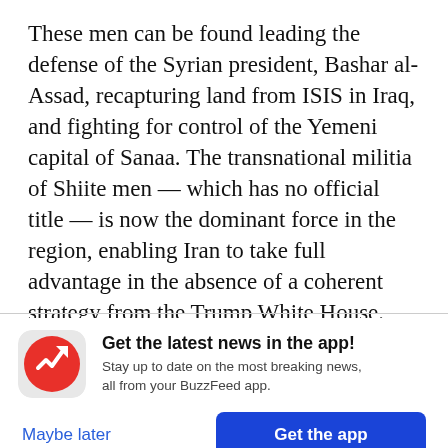These men can be found leading the defense of the Syrian president, Bashar al-Assad, recapturing land from ISIS in Iraq, and fighting for control of the Yemeni capital of Sanaa. The transnational militia of Shiite men — which has no official title — is now the dominant force in the region, enabling Iran to take full advantage in the absence of a coherent strategy from the Trump White House.

Over six months, BuzzFeed News spoke to researchers, officials, and militia fighters who
[Figure (logo): BuzzFeed News app promotion banner with red circular logo featuring a white upward-trending arrow, headline 'Get the latest news in the app!', subtext 'Stay up to date on the most breaking news, all from your BuzzFeed app.', a 'Maybe later' text link and a blue 'Get the app' button.]